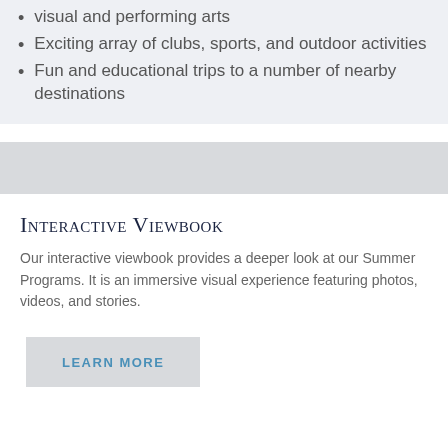visual and performing arts
Exciting array of clubs, sports, and outdoor activities
Fun and educational trips to a number of nearby destinations
[Figure (other): Gray horizontal bar / banner placeholder]
Interactive Viewbook
Our interactive viewbook provides a deeper look at our Summer Programs. It is an immersive visual experience featuring photos, videos, and stories.
LEARN MORE